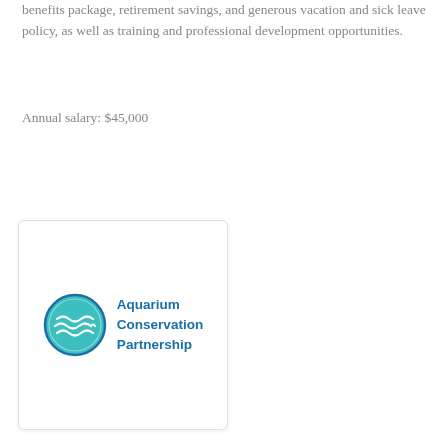benefits package, retirement savings, and generous vacation and sick leave policy, as well as training and professional development opportunities.
Annual salary: $45,000
[Figure (logo): Aquarium Conservation Partnership logo — a circular teal emblem with wave lines, next to the text 'Aquarium Conservation Partnership' in blue.]